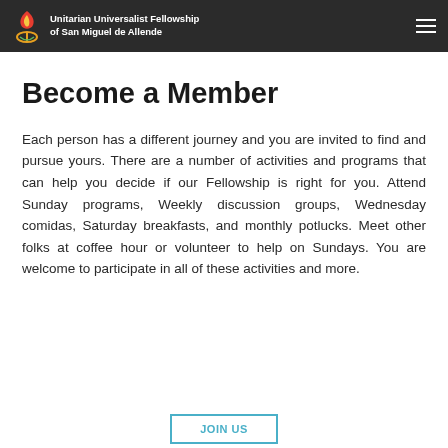Unitarian Universalist Fellowship of San Miguel de Allende
Become a Member
Each person has a different journey and you are invited to find and pursue yours. There are a number of activities and programs that can help you decide if our Fellowship is right for you. Attend Sunday programs, Weekly discussion groups, Wednesday comidas, Saturday breakfasts, and monthly potlucks. Meet other folks at coffee hour or volunteer to help on Sundays. You are welcome to participate in all of these activities and more.